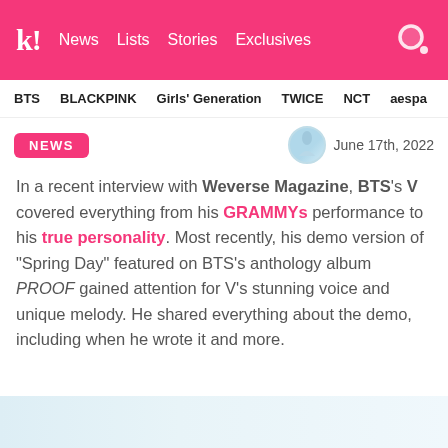kl! News Lists Stories Exclusives
BTS BLACKPINK Girls' Generation TWICE NCT aespa
NEWS   June 17th, 2022
In a recent interview with Weverse Magazine, BTS's V covered everything from his GRAMMYs performance to his true personality. Most recently, his demo version of “Spring Day” featured on BTS’s anthology album PROOF gained attention for V’s stunning voice and unique melody. He shared everything about the demo, including when he wrote it and more.
[Figure (photo): Light blue/white image placeholder at the bottom of the page]